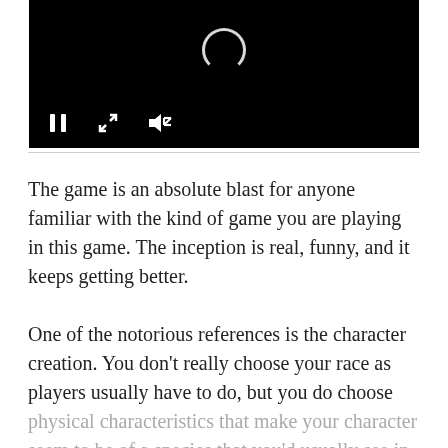[Figure (screenshot): Video player with black background, loading spinner, and playback controls (pause, fullscreen, mute)]
The game is an absolute blast for anyone familiar with the kind of game you are playing in this game. The inception is real, funny, and it keeps getting better.
One of the notorious references is the character creation. You don't really choose your race as players usually have to do, but you do choose physical characteristics that make your character seem to be of a species that you'd usually see in